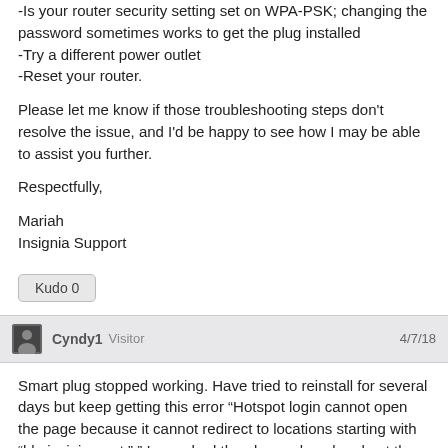-Is your router security setting set on WPA-PSK; changing the password sometimes works to get the plug installed
-Try a different power outlet
-Reset your router.
Please let me know if those troubleshooting steps don't resolve the issue, and I'd be happy to see how I may be able to assist you further.
Respectfully,
Mariah
Insignia Support
Kudo 0
Cyndy1 Visitor 4/7/18
Smart plug stopped working. Have tried to reinstall for several days but keep getting this error “Hotspot login cannot open the page because it cannot redirect to locations starting with “bbyinsigina-opt:”.” I even had the plug replaced and get the same error. Model #NS-SP1X7. I am using a iPhone 8 and iOS is up to date.
Kudo 0